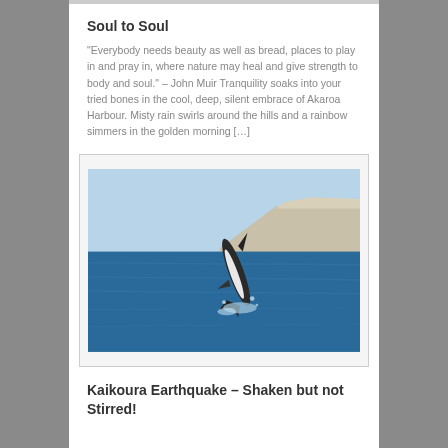Soul to Soul
“Everybody needs beauty as well as bread, places to play in and pray in, where nature may heal and give strength to body and soul.” – John Muir Tranquility soaks into your tried bones in the cool, deep, silent embrace of Akaroa Harbour. Misty rain swirls around the hills and a rainbow simmers in the golden morning […]
[Figure (photo): A dolphin leaping out of blue ocean water with white cliffs in the background]
Kaikoura Earthquake – Shaken but not Stirred!